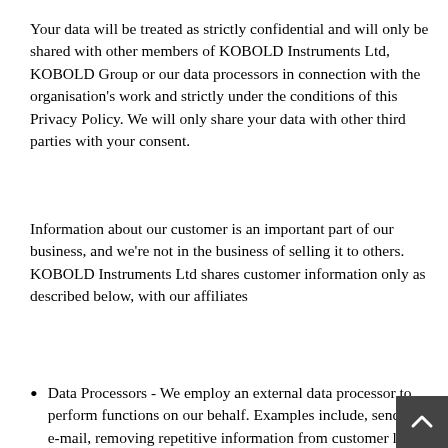Your data will be treated as strictly confidential and will only be shared with other members of KOBOLD Instruments Ltd, KOBOLD Group or our data processors in connection with the organisation's work and strictly under the conditions of this Privacy Policy. We will only share your data with other third parties with your consent.
Information about our customer is an important part of our business, and we're not in the business of selling it to others. KOBOLD Instruments Ltd shares customer information only as described below, with our affiliates
Data Processors - We employ an external data processor to perform functions on our behalf. Examples include, sending e-mail, removing repetitive information from customer lists, analyzing data, providing marketing assistance, processing payment card payments, and providing customer service. They have access to minimum amounts of data needed to perform their functions, but may not use it for other purposes. The